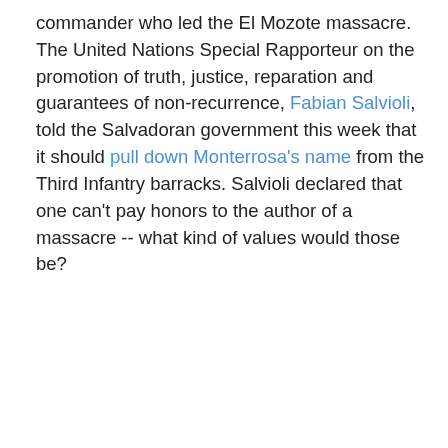commander who led the El Mozote massacre.  The United Nations Special Rapporteur on the promotion of truth, justice, reparation and guarantees of non-recurrence, Fabian Salvioli, told the Salvadoran government this week that it should pull down Monterrosa's name from the Third Infantry barracks. Salvioli declared that one can't pay honors to the author of a massacre -- what kind of values would those be?
El Mozote
Greg said... Oft times the wheels of Justice turn slowly but they do turn. DM's name should be left in place at 3rd BDE. As a daily reminder of not only the massacre